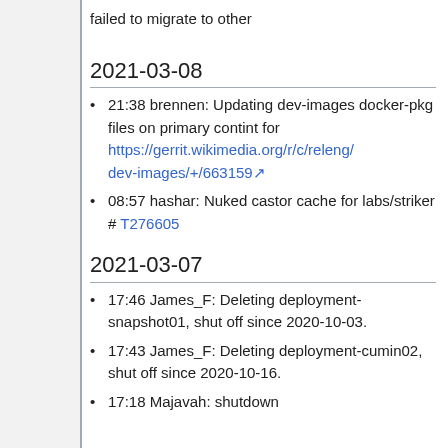failed to migrate to other
2021-03-08
21:38 brennen: Updating dev-images docker-pkg files on primary contint for https://gerrit.wikimedia.org/r/c/releng/dev-images/+/663159
08:57 hashar: Nuked castor cache for labs/striker # T276605
2021-03-07
17:46 James_F: Deleting deployment-snapshot01, shut off since 2020-10-03.
17:43 James_F: Deleting deployment-cumin02, shut off since 2020-10-16.
17:18 Majavah: shutdown